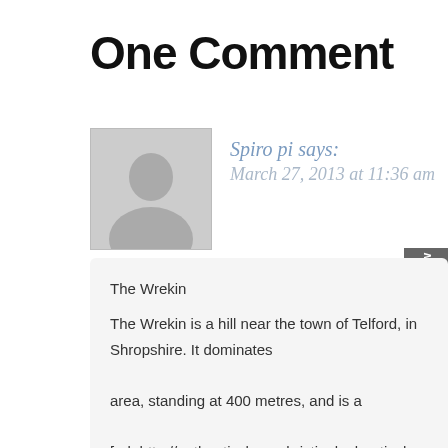One Comment
Spiro pi says:
March 27, 2013 at 11:36 am
The Wrekin
The Wrekin is a hill near the town of Telford, in Shropshire. It dominates the area, standing at 400 metres, and is a [url=http://authenticcheapchristianlouboutinshoessale.webs.com]black c spike pumps[/url] very popular spot for walking and family picnics. The landmark, that the local council is called ‘Telford and Wrekin’.
The History of the WrekinThe Wrekin has always been important to the Starting in the Bronze Age, the Cornovii tribe of Celts used the hill as a